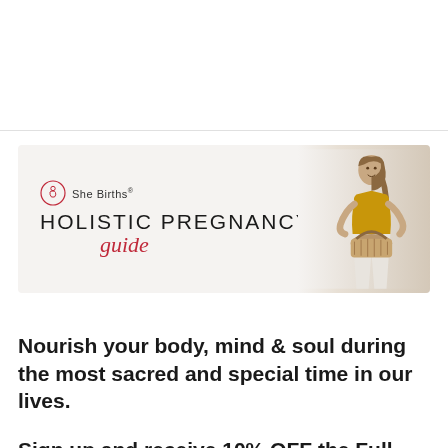[Figure (illustration): She Births Holistic Pregnancy Guide banner with logo, large uppercase text 'HOLISTIC PREGNANCY' and cursive red 'guide', woman sitting on white surface wearing mustard top and white pants, holding a basket, on a light beige background.]
Nourish your body, mind & soul during the most sacred and special time in our lives.
Sign up and receive 10% OFF the Full